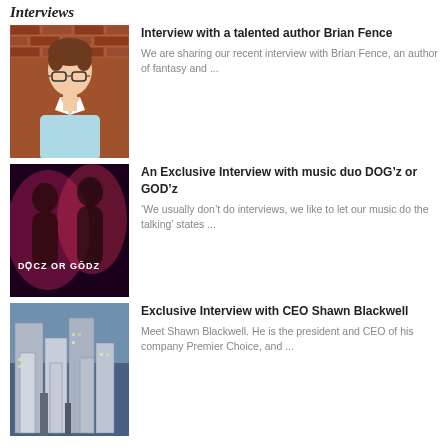Interviews
[Figure (photo): Headshot of a man with glasses and curly hair wearing a light blue shirt, standing in front of a brick wall]
Interview with a talented author Brian Fence
We are sharing our recent interview with Brian Fence, an author of fantasy and ...
[Figure (photo): Promotional image for music duo DOGCZ OR GODZ with two silhouetted figures on a red/pink background]
An Exclusive Interview with music duo DOG’z or GOD’z
‘We usually don’t do interviews, we like to let our music do the talking’ states ...
[Figure (photo): Aerial view of city skyscrapers and urban buildings]
Exclusive Interview with CEO Shawn Blackwell
Meet Shawn Blackwell. He is the president and CEO of his company Premier Choice, and ...